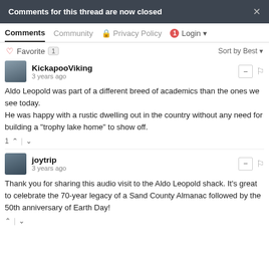Comments for this thread are now closed
Comments  Community  Privacy Policy  1  Login
♡ Favorite  1   Sort by Best
KickapooViking
3 years ago
Aldo Leopold was part of a different breed of academics than the ones we see today.
He was happy with a rustic dwelling out in the country without any need for building a "trophy lake home" to show off.
1 ∧ | ∨
joytrip
3 years ago
Thank you for sharing this audio visit to the Aldo Leopold shack. It's great to celebrate the 70-year legacy of a Sand County Almanac followed by the 50th anniversary of Earth Day!
∧ | ∨